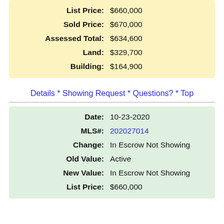| Field | Value |
| --- | --- |
| List Price: | $660,000 |
| Sold Price: | $670,000 |
| Assessed Total: | $634,600 |
| Land: | $329,700 |
| Building: | $164,900 |
Details * Showing Request * Questions? * Top
| Field | Value |
| --- | --- |
| Date: | 10-23-2020 |
| MLS#: | 202027014 |
| Change: | In Escrow Not Showing |
| Old Value: | Active |
| New Value: | In Escrow Not Showing |
| List Price: | $660,000 |